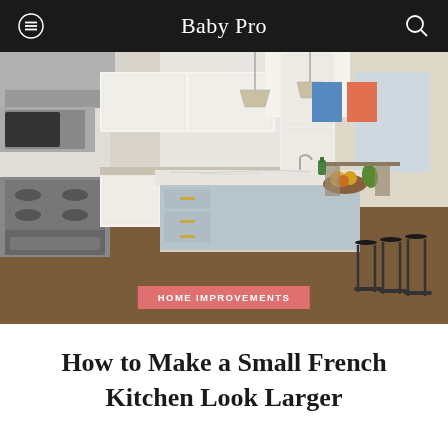Baby Pro
[Figure (photo): Modern open-plan kitchen with white marble island, bar stools, stainless steel appliances, pendant lights, and dark wood floors]
HOME IMPROVEMENTS
How to Make a Small French Kitchen Look Larger